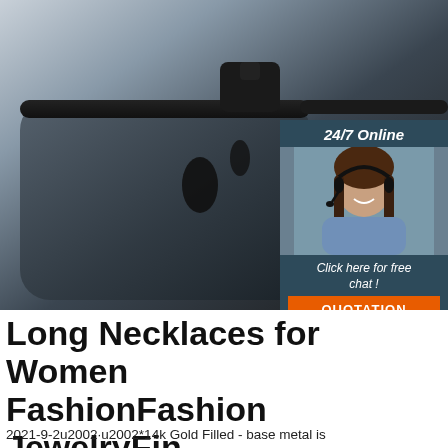[Figure (photo): Close-up photo of black sunglasses frame and lens against a grey/blue gradient background, with an online chat support widget overlay in the top-right showing '24/7 Online', a woman with headset, 'Click here for free chat!' text, and an orange QUOTATION button.]
Long Necklaces for Women FashionFashion JewelryFin TOP
2021-9-2u2002·u2002*14k Gold Filled - base metal is